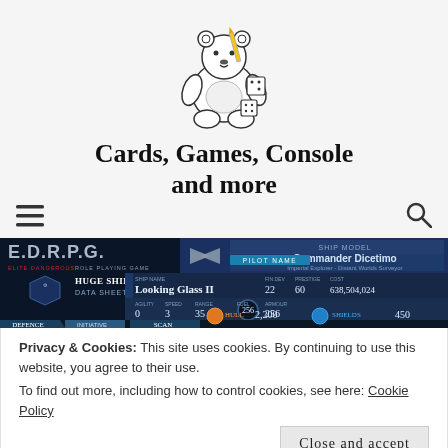[Figure (illustration): Line drawing illustration of a teddy bear sitting with dice, pencil, and playing cards]
Cards, Games, Console and more
[Figure (screenshot): E.D.R.P.G. (Elite Dangerous Role Playing Game) banner showing a Huge Ship Data Sheet for Commander Dicetimo. Ship: Looking Glass II, Ship Model: Imperial Explorer - Distant Worlds Surveyor. Stats: Fin Dev 22, Prestige 60, Cost 638,504,024, Agility 0, Speed 3, Range 35, Fuel 256, Armour 256, Hull 2,200, Shields 450. Sections: Defence, Initiative, Scan.]
Privacy & Cookies: This site uses cookies. By continuing to use this website, you agree to their use.
To find out more, including how to control cookies, see here: Cookie Policy
Close and accept